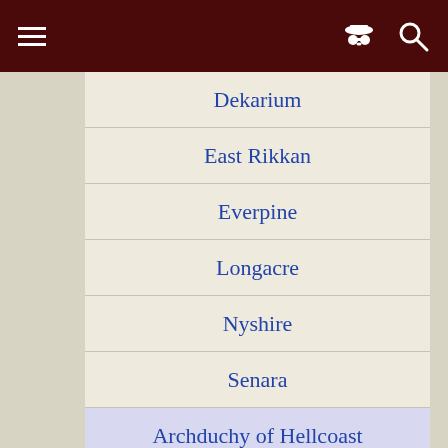≡  🕵  🔍
Dekarium
East Rikkan
Everpine
Longacre
Nyshire
Senara
Archduchy of Hellcoast
Belde
(capital)
Blackcove